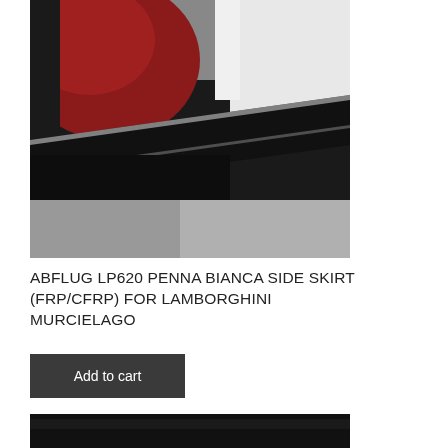[Figure (photo): Close-up photo of a Lamborghini Murcielago side skirt in black carbon fiber/FRP, showing the door area open with red interior visible, white car body, and dark floor mat detail.]
ABFLUG LP620 PENNA BIANCA SIDE SKIRT (FRP/CFRP) FOR LAMBORGHINI MURCIELAGO
Add to cart
[Figure (photo): Partial photo of another view of the Lamborghini Murcielago product, mostly black/dark.]